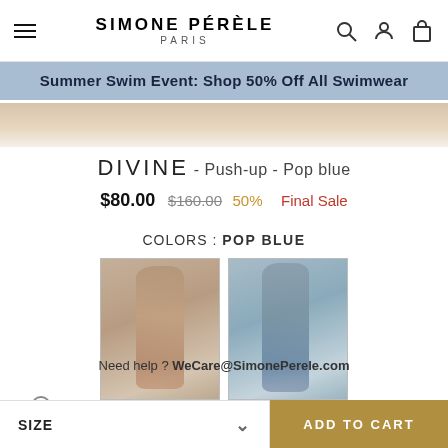SIMONE PÉRÈLE PARIS
Summer Swim Event: Shop 50% Off All Swimwear
DIVINE - Push-up - Pop blue
$80.00  $160.00  50%  Final Sale
COLORS : POP BLUE
[Figure (photo): Two product thumbnail photos: left shows a model in red lingerie, right shows a model in blue push-up bra]
SIZE GUIDE >
Need help ? WeCare@SimonePerele.com
Free shipping
SIZE   ADD TO CART